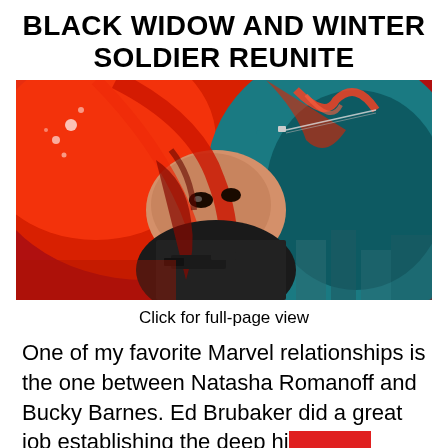BLACK WIDOW AND WINTER SOLDIER REUNITE
[Figure (illustration): Comic book style illustration of Black Widow with red hair leaning forward holding a gun, with a teal/dark figure behind her]
Click for full-page view
One of my favorite Marvel relationships is the one between Natasha Romanoff and Bucky Barnes. Ed Brubaker did a great job establishing the deep history [redacted]